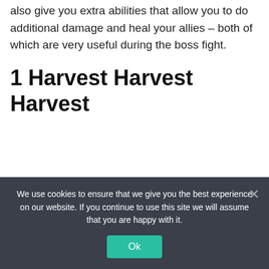also give you extra abilities that allow you to do additional damage and heal your allies – both of which are very useful during the boss fight.
1 Harvest Harvest Harvest
We use cookies to ensure that we give you the best experience on our website. If you continue to use this site we will assume that you are happy with it.